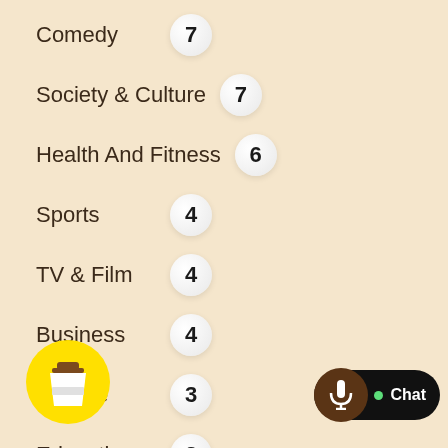Comedy 7
Society & Culture 7
Health And Fitness 6
Sports 4
TV & Film 4
Business 4
Leisure 3
Education 2
Fiction 1
Kids & Family 1
M... 1